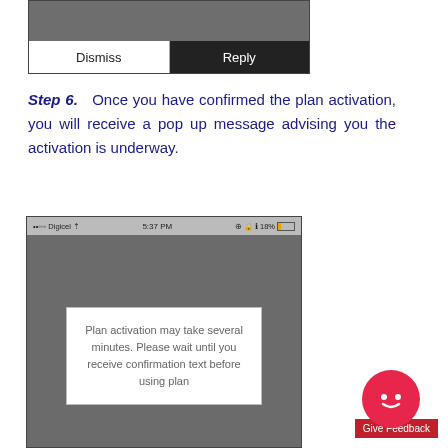[Figure (screenshot): Top portion of a smartphone screenshot showing Dismiss and Reply buttons at the bottom of a dark notification overlay]
Step 6.   Once you have confirmed the plan activation, you will receive a pop up message advising you the activation is underway.
[Figure (screenshot): Smartphone screenshot showing Digicel carrier, 5:37 PM, 18% battery. A white popup box on a grey background reads: 'Plan activation may take several minutes. Please wait until you receive confirmation text before using plan']